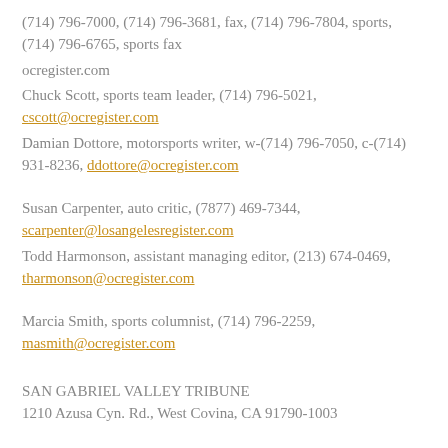(714) 796-7000, (714) 796-3681, fax, (714) 796-7804, sports, (714) 796-6765, sports fax
ocregister.com
Chuck Scott, sports team leader, (714) 796-5021, cscott@ocregister.com
Damian Dottore, motorsports writer, w-(714) 796-7050, c-(714) 931-8236, ddottore@ocregister.com
Susan Carpenter, auto critic, (7877) 469-7344, scarpenter@losangelesregister.com
Todd Harmonson, assistant managing editor, (213) 674-0469, tharmonson@ocregister.com
Marcia Smith, sports columnist, (714) 796-2259, masmith@ocregister.com
SAN GABRIEL VALLEY TRIBUNE
1210 Azusa Cyn. Rd., West Covina, CA 91790-1003